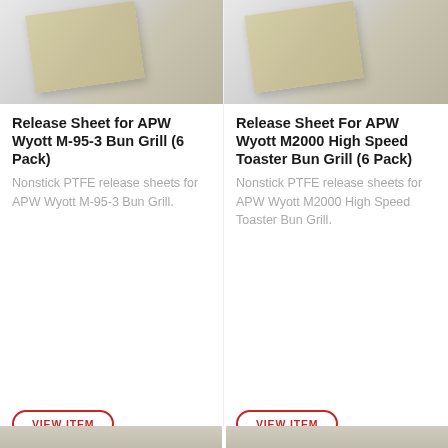[Figure (photo): Product photo of a nonstick PTFE release sheet, beige/tan colored sheet angled on grey background (left column)]
Release Sheet for APW Wyott M-95-3 Bun Grill (6 Pack)
Nonstick PTFE release sheets for APW Wyott M-95-3 Bun Grill.
VIEW ITEM
[Figure (photo): Product photo of a nonstick PTFE release sheet, beige/tan colored sheet angled on grey background (right column)]
Release Sheet For APW Wyott M2000 High Speed Toaster Bun Grill (6 Pack)
Nonstick PTFE release sheets for APW Wyott M2000 High Speed Toaster Bun Grill.
VIEW ITEM